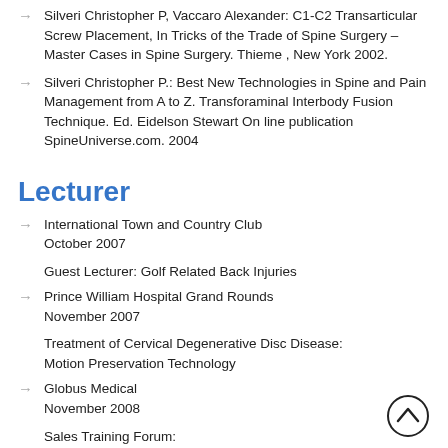Silveri Christopher P, Vaccaro Alexander: C1-C2 Transarticular Screw Placement, In Tricks of the Trade of Spine Surgery – Master Cases in Spine Surgery. Thieme , New York 2002.
Silveri Christopher P.: Best New Technologies in Spine and Pain Management from A to Z. Transforaminal Interbody Fusion Technique. Ed. Eidelson Stewart On line publication SpineUniverse.com. 2004
Lecturer
International Town and Country Club October 2007
Guest Lecturer: Golf Related Back Injuries
Prince William Hospital Grand Rounds November 2007
Treatment of Cervical Degenerative Disc Disease: Motion Preservation Technology
Globus Medical November 2008
Sales Training Forum:
[Figure (other): Back to top button — circle with upward chevron arrow]